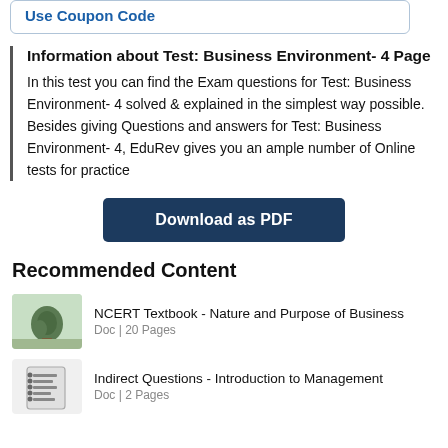Use Coupon Code
Information about Test: Business Environment- 4 Page
In this test you can find the Exam questions for Test: Business Environment- 4 solved & explained in the simplest way possible. Besides giving Questions and answers for Test: Business Environment- 4, EduRev gives you an ample number of Online tests for practice
Download as PDF
Recommended Content
NCERT Textbook - Nature and Purpose of Business
Doc | 20 Pages
Indirect Questions - Introduction to Management
Doc | 2 Pages